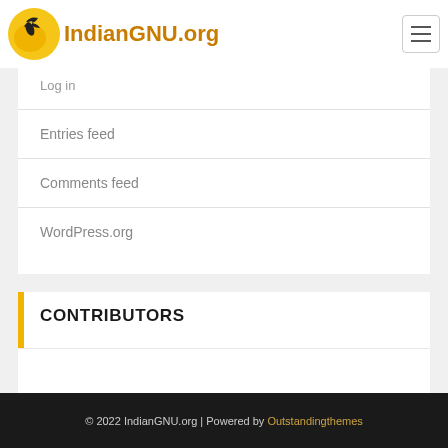[Figure (logo): IndianGNU.org logo with golden circle, bird silhouette, and orange-gold text]
Log in
Entries feed
Comments feed
WordPress.org
CONTRIBUTORS
© 2022 IndianGNU.org | Powered by Outstandingthemes